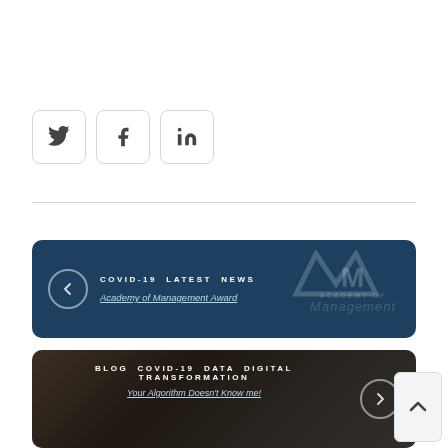[Figure (infographic): Social sharing buttons: Twitter, Facebook, LinkedIn icons in rounded square buttons]
[Figure (infographic): Navigation card with dark blue background and Academy of Management watermark logo. Tag: COVID-19 LATEST NEWS. Link: Academy of Management Award. Left arrow navigation button.]
[Figure (photo): Blog navigation card with dark photo background of masked protesters. Tags: BLOG COVID-19 DATA DIGITAL TRANSFORMATION. Link: Your Algorithm Doesn't Know me! Right arrow navigation button.]